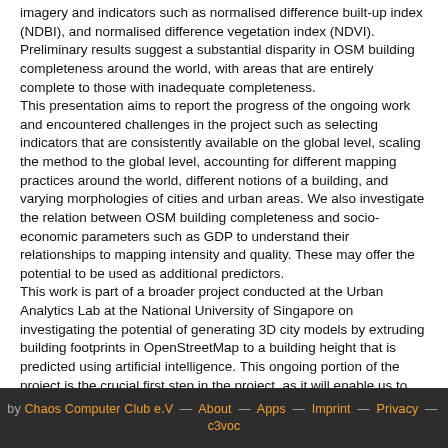imagery and indicators such as normalised difference built-up index (NDBI), and normalised difference vegetation index (NDVI).
Preliminary results suggest a substantial disparity in OSM building completeness around the world, with areas that are entirely complete to those with inadequate completeness.
This presentation aims to report the progress of the ongoing work and encountered challenges in the project such as selecting indicators that are consistently available on the global level, scaling the method to the global level, accounting for different mapping practices around the world, different notions of a building, and varying morphologies of cities and urban areas. We also investigate the relation between OSM building completeness and socio-economic parameters such as GDP to understand their relationships to mapping intensity and quality. These may offer the potential to be used as additional predictors.
This work is part of a broader project conducted at the Urban Analytics Lab at the National University of Singapore on investigating the potential of generating 3D city models by extruding building footprints in OpenStreetMap to a building height that is predicted using artificial intelligence. This ongoing portion of the project is the crucial first step in the project, as it will enable us to understand what is the completeness of building footprints in OpenStreetMap around the world and manage expectations about the potential coverage of 3D city models.
by Chaos Computer Club e.V — About — Apps — Imprint — Privacy — c3voc